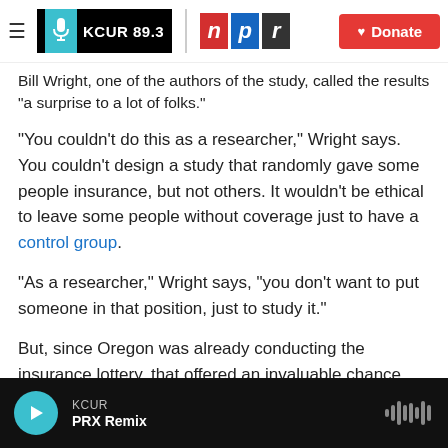KCUR 89.3 | npr | Donate
Bill Wright, one of the authors of the study, called the results "a surprise to a lot of folks."
"You couldn't do this as a researcher," Wright says. You couldn't design a study that randomly gave some people insurance, but not others. It wouldn't be ethical to leave some people without coverage just to have a control group.
"As a researcher," Wright says, "you don't want to put someone in that position, just to study it."
But, since Oregon was already conducting the insurance lottery, that offered an invaluable chance
KCUR — PRX Remix